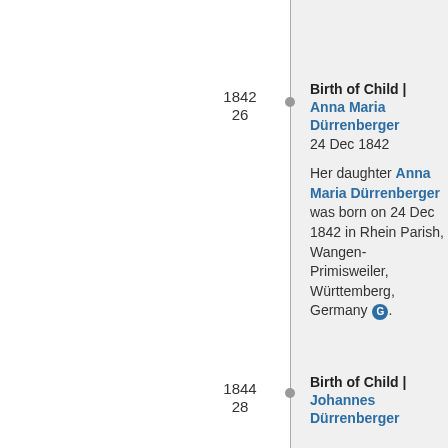1842 / 26
Birth of Child | Anna Maria Dürrenberger 24 Dec 1842

Her daughter Anna Maria Dürrenberger was born on 24 Dec 1842 in Rhein Parish, Wangen-Primisweiler, Württemberg, Germany.
1844 / 28
Birth of Child | Johannes Dürrenberger